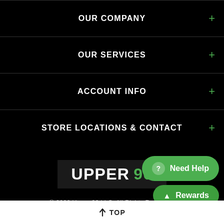OUR COMPANY
OUR SERVICES
ACCOUNT INFO
STORE LOCATIONS & CONTACT
[Figure (logo): Upper 90 logo: white text UPPER and green text 90 on dark background]
© 2022 Upper 90 LLC. All Rights Reserved.
[Figure (infographic): Social media icons: Facebook, Twitter, Instagram in green]
↑ TOP
Need Help
Rewards